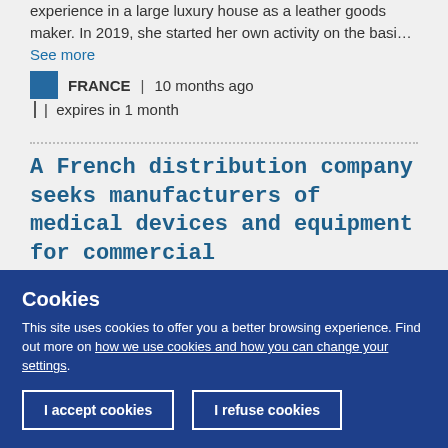experience in a large luxury house as a leather goods maker. In 2019, she started her own activity on the basi... See more
FRANCE | 10 months ago | expires in 1 month
A French distribution company seeks manufacturers of medical devices and equipment for commercial agency/distribution agreements for France and MEA
Cookies
This site uses cookies to offer you a better browsing experience. Find out more on how we use cookies and how you can change your settings.
I accept cookies
I refuse cookies